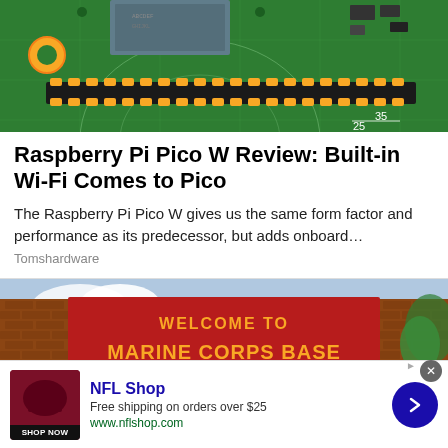[Figure (photo): Close-up photo of a Raspberry Pi Pico W circuit board showing the green PCB with gold GPIO pins, chip components, and measurement markings (25, 35) on the board.]
Raspberry Pi Pico W Review: Built-in Wi-Fi Comes to Pico
The Raspberry Pi Pico W gives us the same form factor and performance as its predecessor, but adds onboard…
Tomshardware
[Figure (photo): Photo of a red welcome sign reading 'WELCOME TO MARINE CORPS BASE CAMP LEJEUNE' with a yellow eagle globe and anchor emblem, flanked by brick pillars and trees in the background.]
[Figure (photo): Advertisement banner for NFL Shop showing a dark red NFL Shop helmet product image, text 'NFL Shop', 'Free shipping on orders over $25', 'www.nflshop.com', a SHOP NOW button, and a blue circular arrow button.]